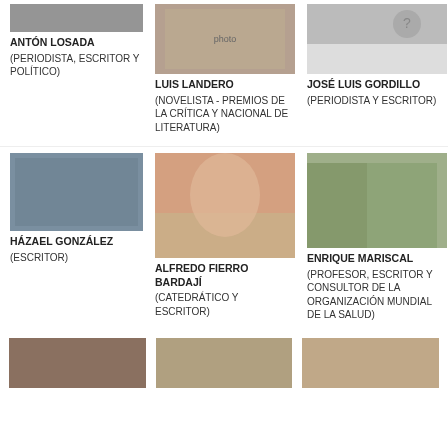[Figure (photo): Photo of Antón Losada partially cropped at top]
ANTÓN LOSADA
(PERIODISTA, ESCRITOR Y POLÍTICO)
[Figure (photo): Photo of Luis Landero at book signing]
LUIS LANDERO
(NOVELISTA - PREMIOS DE LA CRÍTICA Y NACIONAL DE LITERATURA)
[Figure (photo): Photo of José Luis Gordillo with question mark silhouette]
JOSÉ LUIS GORDILLO
(PERIODISTA Y ESCRITOR)
[Figure (photo): Photo of Házael González at bookstore]
HÁZAEL GONZÁLEZ
(ESCRITOR)
[Figure (photo): Photo of Alfredo Fierro Bardají in pink shirt]
ALFREDO FIERRO BARDAJÍ
(CATEDRÁTICO Y ESCRITOR)
[Figure (photo): Photo of Enrique Mariscal holding books]
ENRIQUE MARISCAL
(PROFESOR, ESCRITOR Y CONSULTOR DE LA ORGANIZACIÓN MUNDIAL DE LA SALUD)
[Figure (photo): Photo of unnamed person bottom left]
[Figure (photo): Photo of unnamed person bottom center]
[Figure (photo): Photo of unnamed person bottom right]